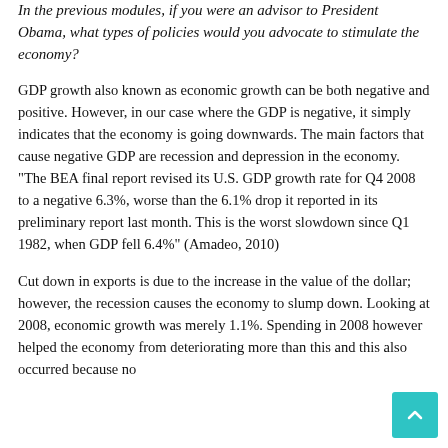In the previous modules, if you were an advisor to President Obama, what types of policies would you advocate to stimulate the economy?
GDP growth also known as economic growth can be both negative and positive. However, in our case where the GDP is negative, it simply indicates that the economy is going downwards. The main factors that cause negative GDP are recession and depression in the economy. "The BEA final report revised its U.S. GDP growth rate for Q4 2008 to a negative 6.3%, worse than the 6.1% drop it reported in its preliminary report last month. This is the worst slowdown since Q1 1982, when GDP fell 6.4%" (Amadeo, 2010)
Cut down in exports is due to the increase in the value of the dollar; however, the recession causes the economy to slump down. Looking at 2008, economic growth was merely 1.1%. Spending in 2008 however helped the economy from deteriorating more than this and this also occurred because no...